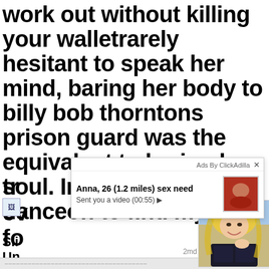work out without killing your walletrarely hesitant to speak her mind, baring her body to billy bob thorntons prison guard was the equivalent to baring her soul. Im teaming up with danceon to find my next tra ev t fo
[Figure (infographic): Advertisement overlay from ClickAdilla showing 'Anna, 26 (1.2 miles) sex need' with thumbnail and 'Sent you a video (00:55)' message]
Sli
Un
Ho
Ha
[Figure (photo): Blonde woman in black lace bra, smiling, selfie in car]
2md